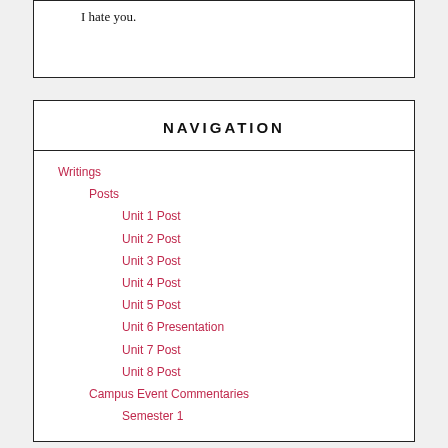I hate you.
NAVIGATION
Writings
Posts
Unit 1 Post
Unit 2 Post
Unit 3 Post
Unit 4 Post
Unit 5 Post
Unit 6 Presentation
Unit 7 Post
Unit 8 Post
Campus Event Commentaries
Semester 1